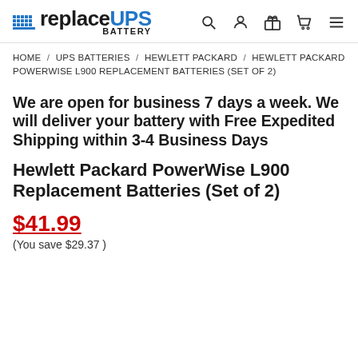replaceUPS BATTERY — navigation icons: search, account, gift, cart, menu
HOME / UPS BATTERIES / HEWLETT PACKARD / HEWLETT PACKARD POWERWISE L900 REPLACEMENT BATTERIES (SET OF 2)
We are open for business 7 days a week. We will deliver your battery with Free Expedited Shipping within 3-4 Business Days
Hewlett Packard PowerWise L900 Replacement Batteries (Set of 2)
$41.99
(You save $29.37 )